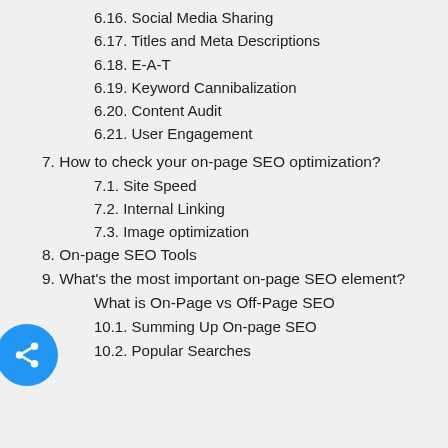6.16. Social Media Sharing
6.17. Titles and Meta Descriptions
6.18. E-A-T
6.19. Keyword Cannibalization
6.20. Content Audit
6.21. User Engagement
7. How to check your on-page SEO optimization?
7.1. Site Speed
7.2. Internal Linking
7.3. Image optimization
8. On-page SEO Tools
9. What's the most important on-page SEO element?
What is On-Page vs Off-Page SEO
10.1. Summing Up On-page SEO
10.2. Popular Searches